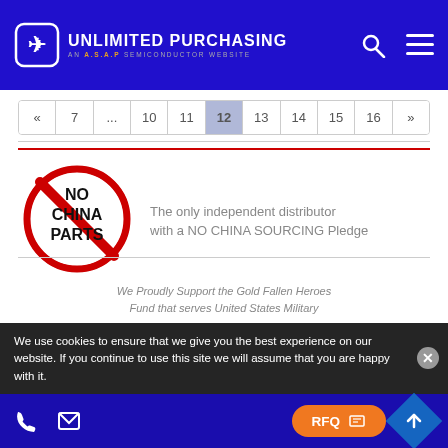UNLIMITED PURCHASING — AN A.S.A.P SEMICONDUCTOR WEBSITE
« 7 ... 10 11 12 13 14 15 16 »
[Figure (logo): No China Parts circular badge with red crossed-out circle]
The only independent distributor with a NO CHINA SOURCING Pledge
We Proudly Support the Gold Fallen Heroes Fund that serves United States Military...
We use cookies to ensure that we give you the best experience on our website. If you continue to use this site we will assume that you are happy with it.
RFQ